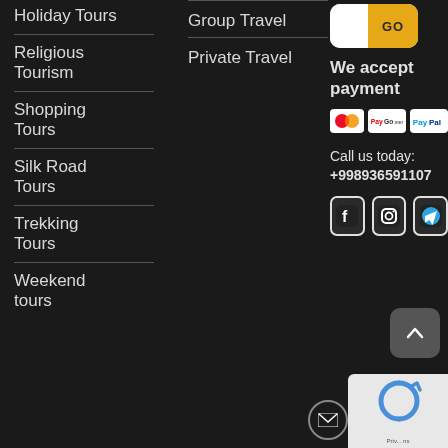Holiday Tours
Religious Tourism
Shopping Tours
Silk Road Tours
Trekking Tours
Weekend tours
Group Travel
Private Travel
[Figure (logo): GO button with white and yellow sections]
We accept payment
[Figure (infographic): Payment method icons: Mastercard, Paygosomething, PayPal]
Call us today: +998936591107
[Figure (infographic): Social media icons: Facebook, Instagram, and another icon]
[Figure (other): reCAPTCHA widget with privacy text]